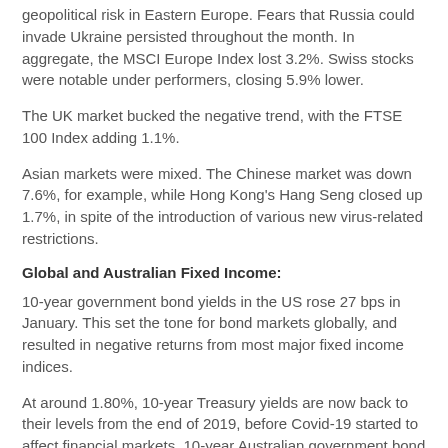geopolitical risk in Eastern Europe. Fears that Russia could invade Ukraine persisted throughout the month. In aggregate, the MSCI Europe Index lost 3.2%. Swiss stocks were notable under performers, closing 5.9% lower.
The UK market bucked the negative trend, with the FTSE 100 Index adding 1.1%.
Asian markets were mixed. The Chinese market was down 7.6%, for example, while Hong Kong's Hang Seng closed up 1.7%, in spite of the introduction of various new virus-related restrictions.
Global and Australian Fixed Income:
10-year government bond yields in the US rose 27 bps in January. This set the tone for bond markets globally, and resulted in negative returns from most major fixed income indices.
At around 1.80%, 10-year Treasury yields are now back to their levels from the end of 2019, before Covid-19 started to affect financial markets. 10-year Australian government bond yields closed the month 23 bps higher, at 1.90%.
Global credit:
With equity markets struggling, it was unsurprising to see credit